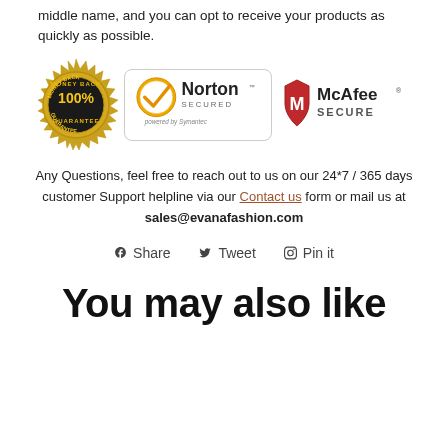middle name, and you can opt to receive your products as quickly as possible.
[Figure (logo): Three trust badges: 100% Money Back Guarantee seal, Norton Secured powered by Symantec, and McAfee Secure logos]
Any Questions, feel free to reach out to us on our 24*7 / 365 days customer Support helpline via our Contact us form or mail us at sales@evanafashion.com
f Share   y Tweet   P Pin it
You may also like